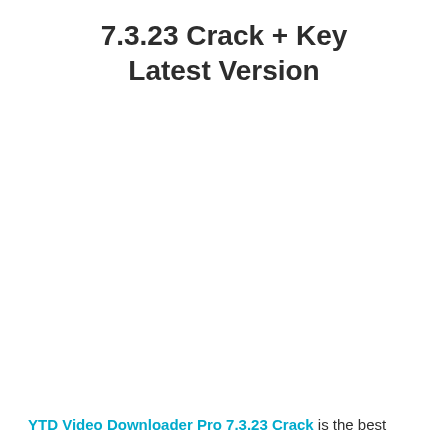7.3.23 Crack + Key Latest Version
YTD Video Downloader Pro 7.3.23 Crack is the best